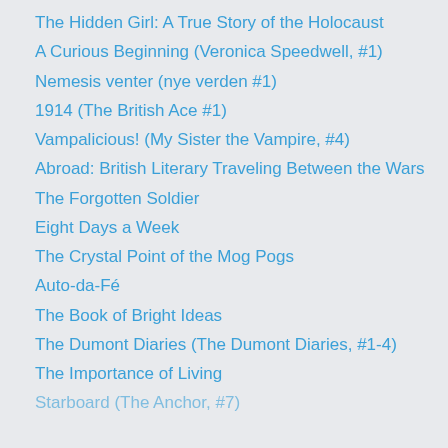The Hidden Girl: A True Story of the Holocaust
A Curious Beginning (Veronica Speedwell, #1)
Nemesis venter (nye verden #1)
1914 (The British Ace #1)
Vampalicious! (My Sister the Vampire, #4)
Abroad: British Literary Traveling Between the Wars
The Forgotten Soldier
Eight Days a Week
The Crystal Point of the Mog Pogs
Auto-da-Fé
The Book of Bright Ideas
The Dumont Diaries (The Dumont Diaries, #1-4)
The Importance of Living
Starboard (The Anchor, #7)